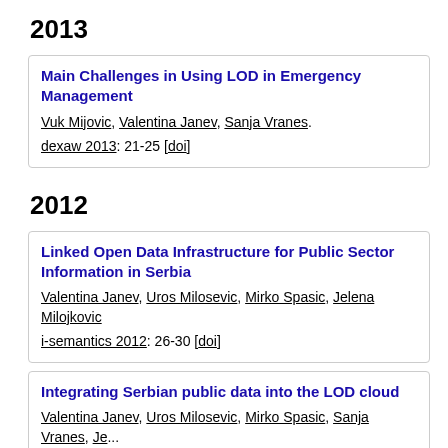2013
Main Challenges in Using LOD in Emergency Management
Vuk Mijovic, Valentina Janev, Sanja Vranes.
dexaw 2013: 21-25 [doi]
2012
Linked Open Data Infrastructure for Public Sector Information in Serbia
Valentina Janev, Uros Milosevic, Mirko Spasic, Jelena Milojkovic
i-semantics 2012: 26-30 [doi]
Integrating Serbian public data into the LOD cloud
Valentina Janev, Uros Milosevic, Mirko Spasic, Sanja Vranes, Je... Branko Jirecek.
bci 2012: 94-99 [doi]